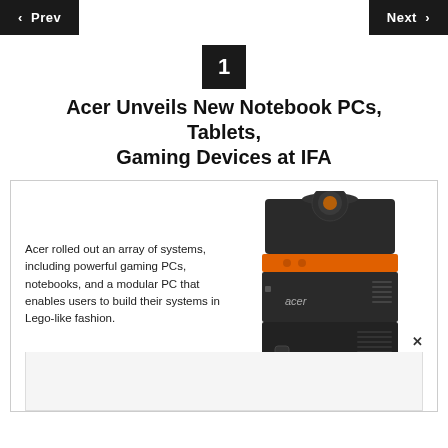< Prev    Next >
1
Acer Unveils New Notebook PCs, Tablets, Gaming Devices at IFA
[Figure (photo): A modular Acer desktop PC (Revo Build) with black cube-like stacked design featuring an orange accent band around the middle, with the Acer logo visible on the front.]
Acer rolled out an array of systems, including powerful gaming PCs, notebooks, and a modular PC that enables users to build their systems in Lego-like fashion.